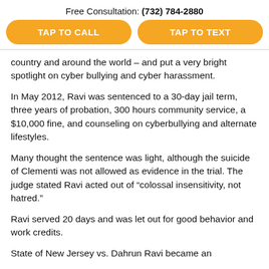Free Consultation: (732) 784-2880
TAP TO CALL
TAP TO TEXT
country and around the world – and put a very bright spotlight on cyber bullying and cyber harassment.
In May 2012, Ravi was sentenced to a 30-day jail term, three years of probation, 300 hours community service, a $10,000 fine, and counseling on cyberbullying and alternate lifestyles.
Many thought the sentence was light, although the suicide of Clementi was not allowed as evidence in the trial. The judge stated Ravi acted out of “colossal insensitivity, not hatred.”
Ravi served 20 days and was let out for good behavior and work credits.
State of New Jersey vs. Dahrun Ravi became an